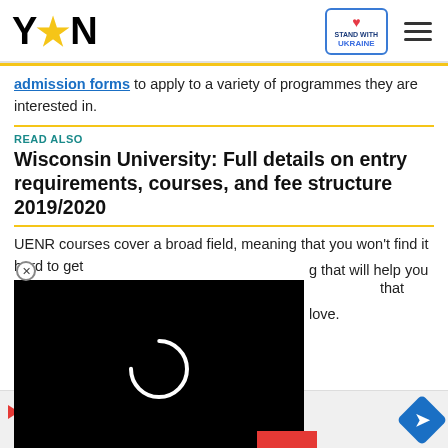YEN logo, Stand with Ukraine badge, hamburger menu
admission forms to apply to a variety of programmes they are interested in.
READ ALSO
Wisconsin University: Full details on entry requirements, courses, and fee structure 2019/2020
UENR courses cover a broad field, meaning that you won't find it hard to get something that suits you best. Despite this, [something] that will help you build a [career you] love.
[Figure (other): Video player overlay on black background with loading spinner circle, red chevron down button, and close (X) button]
national banks in Ghana:
[Figure (other): Advertisement bar: Mattress Firm ad with play button logo, checkmarks for In-store shopping, In-store pickup, Delivery, and blue diamond arrow icon]